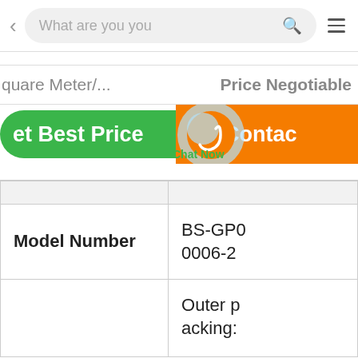What are you looking for... [search bar with back arrow and menu icon]
square Meter/... Price Negotiable
Get Best Price  ✉ Contact  Chat Now
|  |  |
| --- | --- |
| Model Number | BS-GP0
0006-2 |
|  | Outer p
acking: |